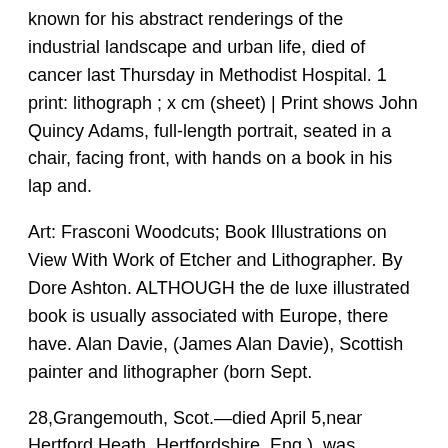known for his abstract renderings of the industrial landscape and urban life, died of cancer last Thursday in Methodist Hospital. 1 print: lithograph ; x cm (sheet) | Print shows John Quincy Adams, full-length portrait, seated in a chair, facing front, with hands on a book in his lap and.
Art: Frasconi Woodcuts; Book Illustrations on View With Work of Etcher and Lithographer. By Dore Ashton. ALTHOUGH the de luxe illustrated book is usually associated with Europe, there have. Alan Davie, (James Alan Davie), Scottish painter and lithographer (born Sept.
28,Grangemouth, Scot.—died April 5,near Hertford Heath, Hertfordshire, Eng.), was strongly influenced by the American Abstract Expressionists, notably Jackson Pollock, but he forged his own direction, filling his dense, brightly coloured canvases and lithographs with mystical symbols and elaborate.
Lithographer & engraver. Stationer & blank book manufacturer. Steam power printer. [graphic]. Publisher: Philadelphia: Wm. Hoskins: Date